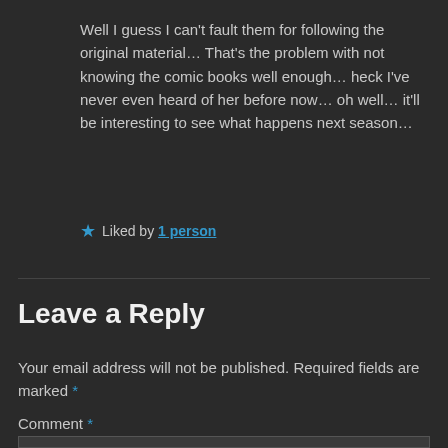Well I guess I can't fault them for following the original material… That's the problem with not knowing the comic books well enough… heck I've never even heard of her before now… oh well… it'll be interesting to see what happens next season…
★ Liked by 1 person
Leave a Reply
Your email address will not be published. Required fields are marked *
Comment *